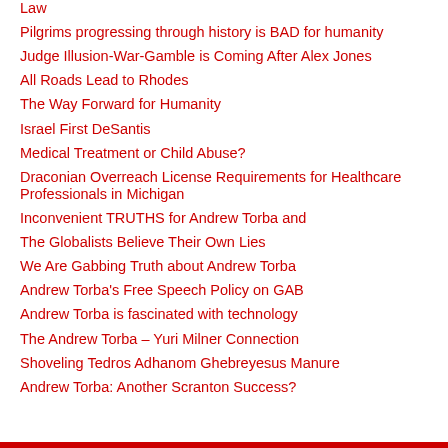Law
Pilgrims progressing through history is BAD for humanity
Judge Illusion-War-Gamble is Coming After Alex Jones
All Roads Lead to Rhodes
The Way Forward for Humanity
Israel First DeSantis
Medical Treatment or Child Abuse?
Draconian Overreach License Requirements for Healthcare Professionals in Michigan
Inconvenient TRUTHS for Andrew Torba and
The Globalists Believe Their Own Lies
We Are Gabbing Truth about Andrew Torba
Andrew Torba's Free Speech Policy on GAB
Andrew Torba is fascinated with technology
The Andrew Torba – Yuri Milner Connection
Shoveling Tedros Adhanom Ghebreyesus Manure
Andrew Torba: Another Scranton Success?